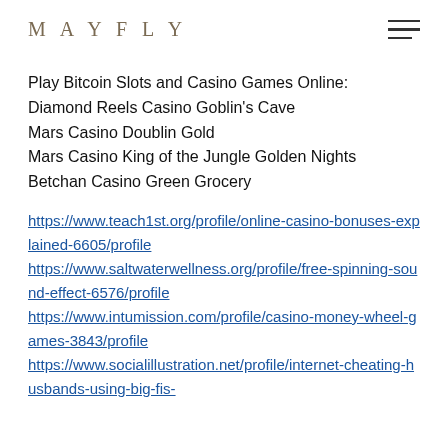MAYFLY
Play Bitcoin Slots and Casino Games Online:
Diamond Reels Casino Goblin's Cave
Mars Casino Doublin Gold
Mars Casino King of the Jungle Golden Nights
Betchan Casino Green Grocery
https://www.teach1st.org/profile/online-casino-bonuses-explained-6605/profile
https://www.saltwaterwellness.org/profile/free-spinning-sound-effect-6576/profile
https://www.intumission.com/profile/casino-money-wheel-games-3843/profile
https://www.socialillustration.net/profile/internet-cheating-husbands-using-big-fis-